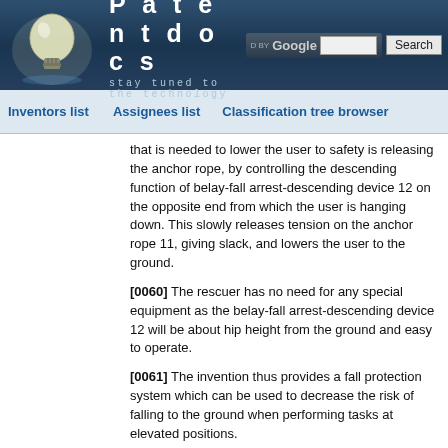[Figure (logo): Patentdocs website header with light bulb logo, Google search bar, and Search button]
Inventors list    Assignees list    Classification tree browser
that is needed to lower the user to safety is releasing the anchor rope, by controlling the descending function of belay-fall arrest-descending device 12 on the opposite end from which the user is hanging down. This slowly releases tension on the anchor rope 11, giving slack, and lowers the user to the ground.
[0060] The rescuer has no need for any special equipment as the belay-fall arrest-descending device 12 will be about hip height from the ground and easy to operate.
[0061] The invention thus provides a fall protection system which can be used to decrease the risk of falling to the ground when performing tasks at elevated positions.
[0062] It will be appreciated that the above is only one embodiment of the invention and that there may be many variations without departing from the spirit and/or the scope of the invention.